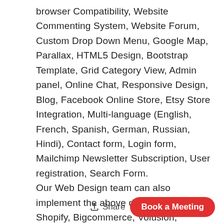browser Compatibility, Website Commenting System, Website Forum, Custom Drop Down Menu, Google Map, Parallax, HTML5 Design, Bootstrap Template, Grid Category View, Admin panel, Online Chat, Responsive Design, Blog, Facebook Online Store, Etsy Store Integration, Multi-language (English, French, Spanish, German, Russian, Hindi), Contact form, Login form, Mailchimp Newsletter Subscription, User registration, Search Form. Our Web Design team can also implement the above design with Shopify, Bigcommerce, Volusion, Woocommerce, XCart, ZenCart, Prestashop, MotoCMS, SquareSpace, OpenCart & much more. Consult with our web experts today.
Share
Book a Meeting